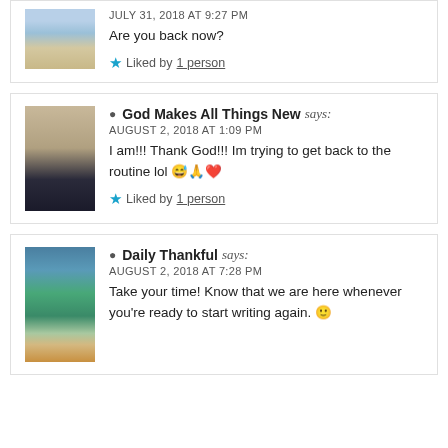JULY 31, 2018 AT 9:27 PM
Are you back now?
★ Liked by 1 person
God Makes All Things New says:
AUGUST 2, 2018 AT 1:09 PM
I am!!! Thank God!!! Im trying to get back to the routine lol 😅🙏❤️
★ Liked by 1 person
Daily Thankful says:
AUGUST 2, 2018 AT 7:28 PM
Take your time! Know that we are here whenever you're ready to start writing again. 🙂